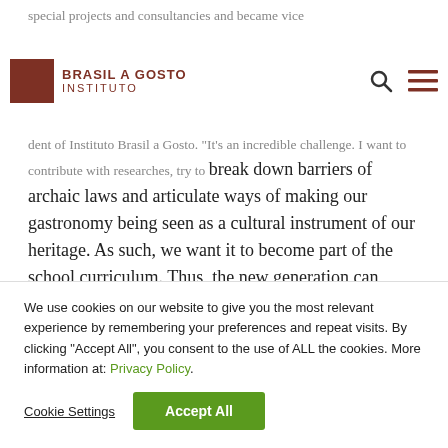Brasil a Gosto Instituto
special projects and consultancies and became vice dent of Instituto Brasil a Gosto. “It’s an incredible challenge. I want to contribute with researches, try to break down barriers of archaic laws and articulate ways of making our gastronomy being seen as a cultural instrument of our heritage. As such, we want it to become part of the school curriculum. Thus, the new generation can already grow on this basis, serving as a multiplier agent of knowledge.”
We use cookies on our website to give you the most relevant experience by remembering your preferences and repeat visits. By clicking “Accept All”, you consent to the use of ALL the cookies. More information at: Privacy Policy.